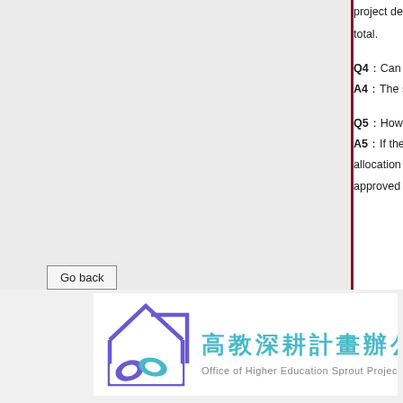project description, background, purpose, method... total.
Q4：Can the subsidies be used to pay for office su... A4：The subsidies must be used for purposes relev...
Q5：How does one use subsidies for international... A5：If the program subsidy is used to pay for the s... allocation form must be completed at the time of... approved by the NCCU president in advance.
Go back
[Figure (logo): Office of Higher Education Sprout Project logo with house shape, two leaf icons (purple and teal), Chinese text 高教深耕計畫辦公室, and English subtitle Office of Higher Education Sprout Project]